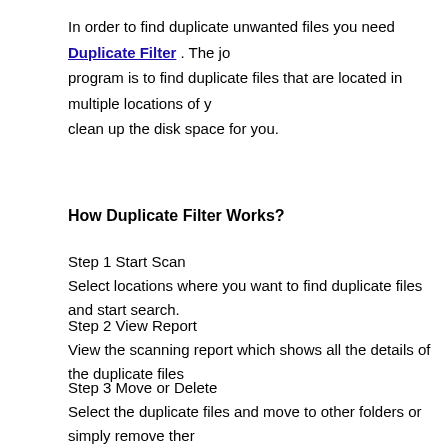In order to find duplicate unwanted files you need Duplicate Filter . The job of this program is to find duplicate files that are located in multiple locations of your PC and clean up the disk space for you.
How Duplicate Filter Works?
Step 1 Start Scan
Select locations where you want to find duplicate files and start search.
Step 2 View Report
View the scanning report which shows all the details of the duplicate files
Step 3 Move or Delete
Select the duplicate files and move to other folders or simply remove them
With only 3 simple steps, you can get rid of all the annoying duplicates from your removable hard drive, USB flash drive, and other networked computers, keeping your folders and files well organized.
>> Screenshots   >> Download   >> Features   >> Buynow   >> Onli
It is important for everyone to find duplicate files in order to keep up the performance of their computer. The duplicate files can create quite a menace as they are eating up your precious storage space. Even if you think that you have lots of storage